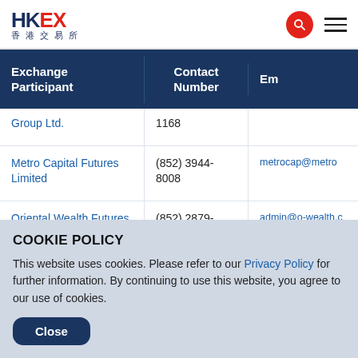HKEX 香港交易所
| Exchange Participant | Contact Number | Em... |
| --- | --- | --- |
| Group Ltd. | 1168 |  |
| Metro Capital Futures Limited | (852) 3944-8008 | metrocap@metro... |
| Oriental Wealth Futures Ltd. | (852) 2879-9868 | admin@o-wealth.c... |
COOKIE POLICY
This website uses cookies. Please refer to our Privacy Policy for further information. By continuing to use this website, you agree to our use of cookies.
Close